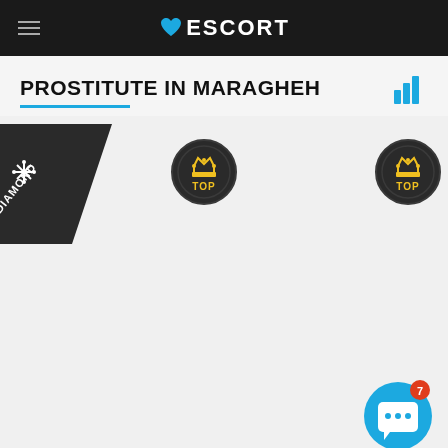ESCORT
PROSTITUTE IN MARAGHEH
[Figure (logo): DIAMOND badge ribbon in top-left corner of listing area]
[Figure (logo): TOP badge circle with crown, center listing]
[Figure (logo): TOP badge circle with crown, right listing]
[Figure (illustration): Blue chat bot button with smiley face icon and red notification badge showing 7]